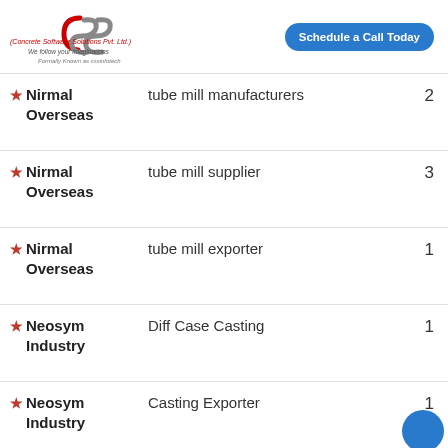[Figure (logo): CSS (Concrete Software Solutions Pvt. Ltd.) logo with tagline 'We follow your imaginations' and 'Formally Known as cssinfotech']
Schedule a Call Today
| Company | Keyword | Rank |
| --- | --- | --- |
| Nirmal Overseas | tube mill manufacturers | 2 |
| Nirmal Overseas | tube mill supplier | 3 |
| Nirmal Overseas | tube mill exporter | 1 |
| Neosym Industry | Diff Case Casting | 1 |
| Neosym Industry | Casting Exporter | 1 |